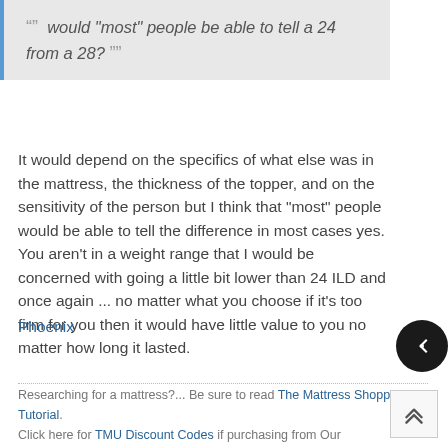" would "most" people be able to tell a 24 from a 28? "
It would depend on the specifics of what else was in the mattress, the thickness of the topper, and on the sensitivity of the person but I think that "most" people would be able to tell the difference in most cases yes. You aren't in a weight range that I would be concerned with going a little bit lower than 24 ILD and once again ... no matter what you choose if it's too firm for you then it would have little value to you no matter how long it lasted.
Phoenix
Researching for a mattress?... Be sure to read The Mattress Shopping Tutorial. Click here for TMU Discount Codes if purchasing from Our Trusted Members.